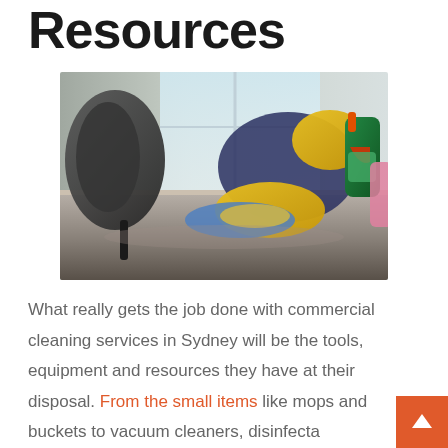Resources
[Figure (photo): Person wearing yellow rubber gloves cleaning a desk with a blue cloth and holding a green spray bottle, photographed in an office setting]
What really gets the job done with commercial cleaning services in Sydney will be the tools, equipment and resources they have at their disposal. From the small items like mops and buckets to vacuum cleaners, disinfecta